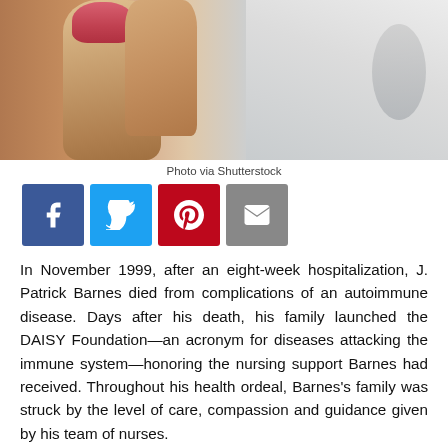[Figure (photo): Close-up photo of a hand (with red nail polish) presumably holding something small, and a person in a white lab coat or medical attire in the background with a stethoscope.]
Photo via Shutterstock
[Figure (infographic): Row of four social media share buttons: Facebook (blue), Twitter (light blue), Pinterest (red), Email/envelope (gray).]
In November 1999, after an eight-week hospitalization, J. Patrick Barnes died from complications of an autoimmune disease. Days after his death, his family launched the DAISY Foundation—an acronym for diseases attacking the immune system—honoring the nursing support Barnes had received. Throughout his health ordeal, Barnes's family was struck by the level of care, compassion and guidance given by his team of nurses.
READ MORE: